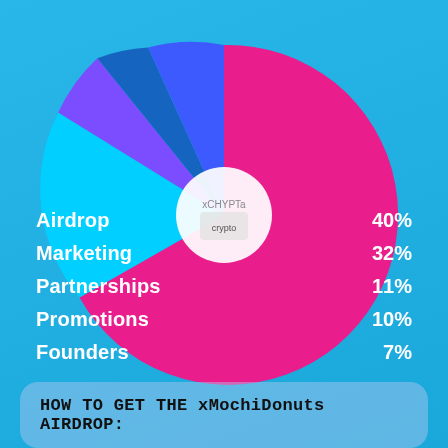[Figure (pie-chart): Token Distribution]
Airdrop 40%
Marketing 32%
Partnerships 11%
Promotions 10%
Founders 7%
HOW TO GET THE xMochiDonuts AIRDROP: